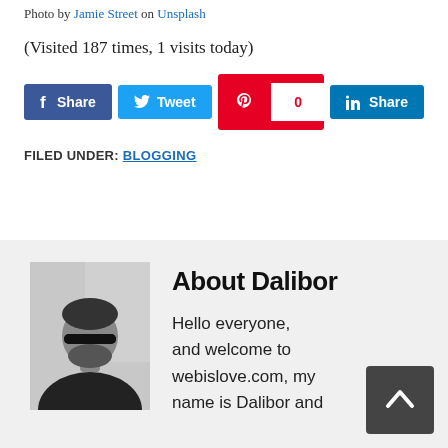Photo by Jamie Street on Unsplash
(Visited 187 times, 1 visits today)
[Figure (other): Social share buttons: Facebook Share, Twitter Tweet, Pinterest with count 0, LinkedIn Share]
FILED UNDER: BLOGGING
[Figure (photo): Black and white photo of a bearded man wearing sunglasses]
About Dalibor
Hello everyone, and welcome to webislove.com, my name is Dalibor and